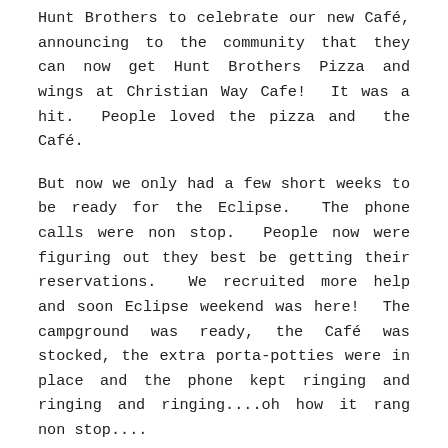Hunt Brothers to celebrate our new Café, announcing to the community that they can now get Hunt Brothers Pizza and wings at Christian Way Cafe!  It was a hit.  People loved the pizza and  the Café.
But now we only had a few short weeks to be ready for the Eclipse.  The phone calls were non stop.  People now were figuring out they best be getting their reservations.  We recruited more help and soon Eclipse weekend was here!  The campground was ready, the Café was stocked, the extra porta-potties were in place and the phone kept ringing and ringing and ringing....oh how it rang non stop....